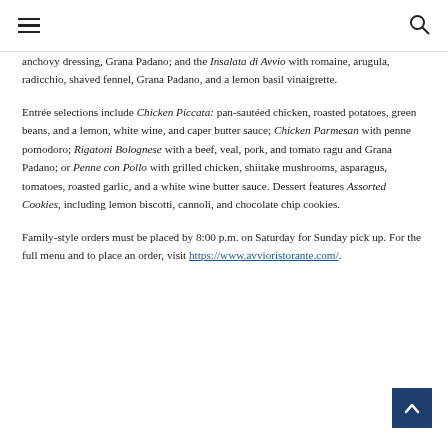anchovy dressing, Grana Padano; and the Insalata di Avvio with romaine, arugula, radicchio, shaved fennel, Grana Padano, and a lemon basil vinaigrette.
Entrée selections include Chicken Piccata: pan-sautéed chicken, roasted potatoes, green beans, and a lemon, white wine, and caper butter sauce; Chicken Parmesan with penne pomodoro; Rigatoni Bolognese with a beef, veal, pork, and tomato ragu and Grana Padano; or Penne con Pollo with grilled chicken, shiitake mushrooms, asparagus, tomatoes, roasted garlic, and a white wine butter sauce. Dessert features Assorted Cookies, including lemon biscotti, cannoli, and chocolate chip cookies.
Family-style orders must be placed by 8:00 p.m. on Saturday for Sunday pick up. For the full menu and to place an order, visit https://www.avvioristorante.com/.